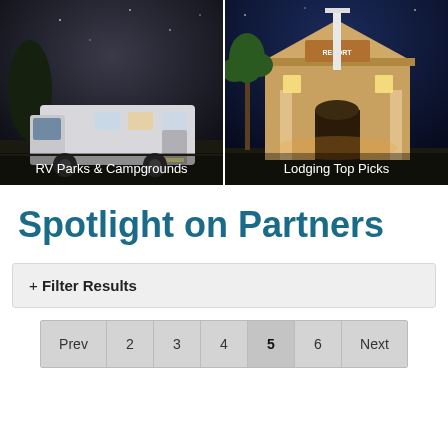[Figure (photo): Two side-by-side photos: left shows an RV/motorhome parked at night, right shows a hotel/lodge building at night with palm trees and warm lighting. Each photo has a white text label at the bottom.]
RV Parks & Campgrounds
Lodging Top Picks
Spotlight on Partners
+ Filter Results
Prev  2  3  4  5  6  Next